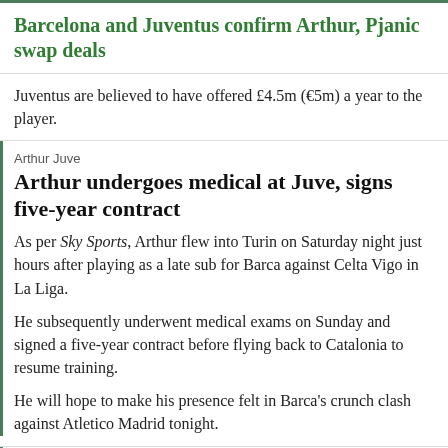Barcelona and Juventus confirm Arthur, Pjanic swap deals
Juventus are believed to have offered £4.5m (€5m) a year to the player.
Arthur Juve
Arthur undergoes medical at Juve, signs five-year contract
As per Sky Sports, Arthur flew into Turin on Saturday night just hours after playing as a late sub for Barca against Celta Vigo in La Liga.
He subsequently underwent medical exams on Sunday and signed a five-year contract before flying back to Catalonia to resume training.
He will hope to make his presence felt in Barca's crunch clash against Atletico Madrid tonight.
Twitter Post
CONFIRMED!